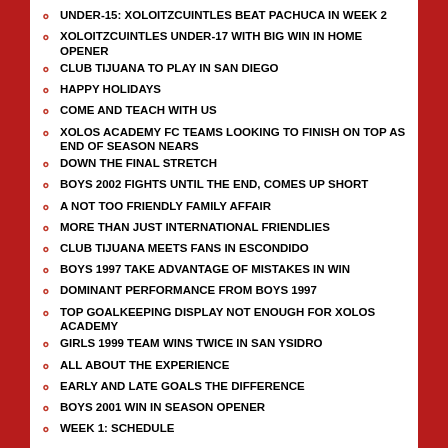UNDER-15: XOLOITZCUINTLES BEAT PACHUCA IN WEEK 2
XOLOITZCUINTLES UNDER-17 WITH BIG WIN IN HOME OPENER
CLUB TIJUANA TO PLAY IN SAN DIEGO
HAPPY HOLIDAYS
COME AND TEACH WITH US
XOLOS ACADEMY FC TEAMS LOOKING TO FINISH ON TOP AS END OF SEASON NEARS
DOWN THE FINAL STRETCH
BOYS 2002 FIGHTS UNTIL THE END, COMES UP SHORT
A NOT TOO FRIENDLY FAMILY AFFAIR
MORE THAN JUST INTERNATIONAL FRIENDLIES
CLUB TIJUANA MEETS FANS IN ESCONDIDO
BOYS 1997 TAKE ADVANTAGE OF MISTAKES IN WIN
DOMINANT PERFORMANCE FROM BOYS 1997
TOP GOALKEEPING DISPLAY NOT ENOUGH FOR XOLOS ACADEMY
GIRLS 1999 TEAM WINS TWICE IN SAN YSIDRO
ALL ABOUT THE EXPERIENCE
EARLY AND LATE GOALS THE DIFFERENCE
BOYS 2001 WIN IN SEASON OPENER
WEEK 1: SCHEDULE